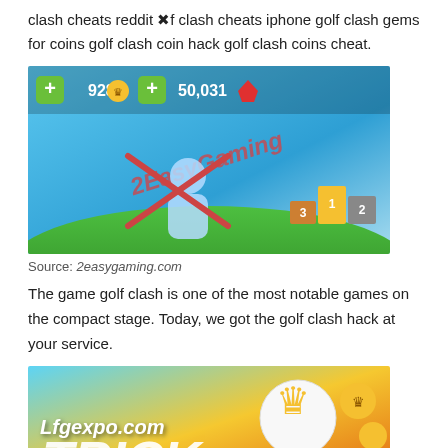clash cheats reddit ⊗f clash cheats iphone golf clash gems for coins golf clash coin hack golf clash coins cheat.
[Figure (screenshot): Screenshot of Golf Clash game showing 928 coins and 50,031 gems with 2EasyGaming watermark]
Source: 2easygaming.com
The game golf clash is one of the most notable games on the compact stage. Today, we got the golf clash hack at your service.
[Figure (screenshot): Screenshot of Golf Clash hack advertisement with lfgexpo.com watermark and TRICK text with golf ball and crown]